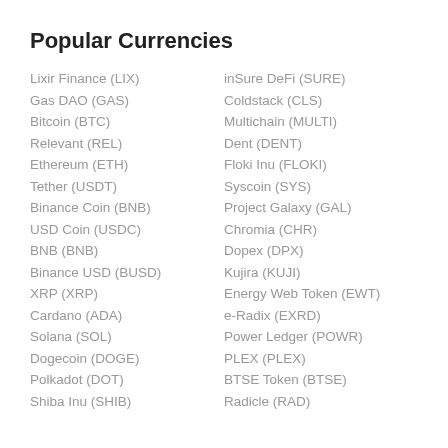Popular Currencies
Lixir Finance (LIX)
Gas DAO (GAS)
Bitcoin (BTC)
Relevant (REL)
Ethereum (ETH)
Tether (USDT)
Binance Coin (BNB)
USD Coin (USDC)
BNB (BNB)
Binance USD (BUSD)
XRP (XRP)
Cardano (ADA)
Solana (SOL)
Dogecoin (DOGE)
Polkadot (DOT)
Shiba Inu (SHIB)
inSure DeFi (SURE)
Coldstack (CLS)
Multichain (MULTI)
Dent (DENT)
Floki Inu (FLOKI)
Syscoin (SYS)
Project Galaxy (GAL)
Chromia (CHR)
Dopex (DPX)
Kujira (KUJI)
Energy Web Token (EWT)
e-Radix (EXRD)
Power Ledger (POWR)
PLEX (PLEX)
BTSE Token (BTSE)
Radicle (RAD)